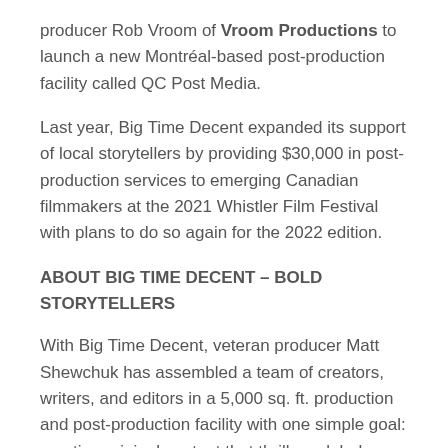producer Rob Vroom of Vroom Productions to launch a new Montréal-based post-production facility called QC Post Media.
Last year, Big Time Decent expanded its support of local storytellers by providing $30,000 in post-production services to emerging Canadian filmmakers at the 2021 Whistler Film Festival with plans to do so again for the 2022 edition.
ABOUT BIG TIME DECENT – BOLD STORYTELLERS
With Big Time Decent, veteran producer Matt Shewchuk has assembled a team of creators, writers, and editors in a 5,000 sq. ft. production and post-production facility with one simple goal: creating original content that thrills a global audience.